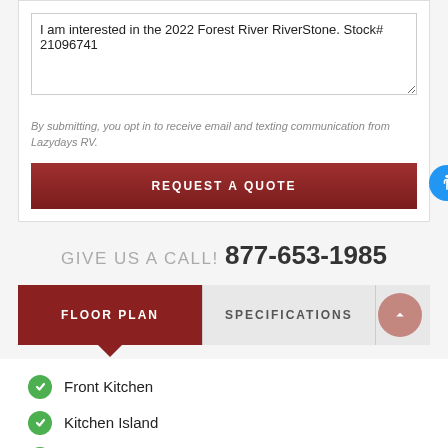I am interested in the 2022 Forest River RiverStone. Stock# 21096741
By submitting, you opt in to receive email and texting communication from Lazydays RV.
REQUEST A QUOTE
GIVE US A CALL! 877-653-1985
FLOOR PLAN
SPECIFICATIONS
Front Kitchen
Kitchen Island
Outdoor Entertainment